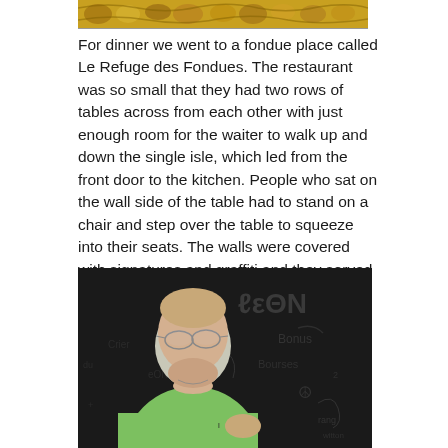[Figure (photo): Partial view of a decorative golden ornamental border or frieze at the top of the page]
For dinner we went to a fondue place called Le Refuge des Fondues. The restaurant was so small that they had two rows of tables across from each other with just enough room for the waiter to walk up and down the single isle, which led from the front door to the kitchen. People who sat on the wall side of the table had to stand on a chair and step over the table to squeeze into their seats. The walls were covered with signatures and graffiti and they served wine in baby bottles. Good idea, with all those people climbing over the tables. Really fun place and good fondue too.
[Figure (photo): A young man with glasses wearing a green shirt, sitting in a restaurant with graffiti-covered dark walls visible in the background]